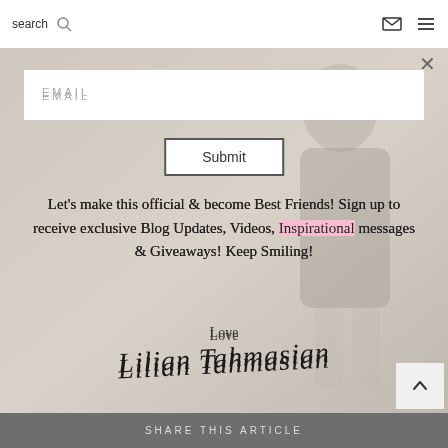search  [search icon]  [mail icon]  [menu icon]
[Figure (photo): Background photo of a woman in a sparkly outfit, partially obscured by overlay content. Close X button visible top right.]
EMAIL
Submit
Let’s make this official & become Best Friends! Sign up to receive exclusive Blog Updates, Videos, Inspirational messages & Giveaways! Keep Smiling!
Love
Lilian Tahmasian
SHARE THIS ARTICLE